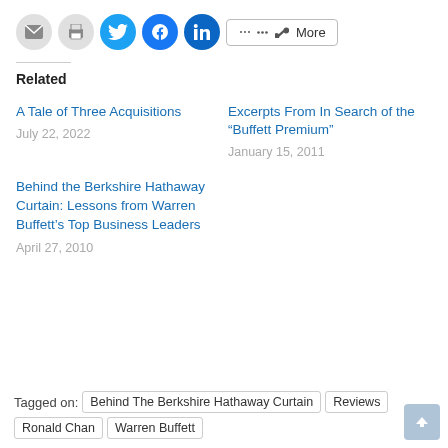[Figure (other): Social sharing buttons: email, print, Twitter, Facebook, LinkedIn, and More]
Related
A Tale of Three Acquisitions
July 22, 2022
Excerpts From In Search of the “Buffett Premium”
January 15, 2011
Behind the Berkshire Hathaway Curtain: Lessons from Warren Buffett’s Top Business Leaders
April 27, 2010
Tagged on: Behind The Berkshire Hathaway Curtain | Reviews | Ronald Chan | Warren Buffett